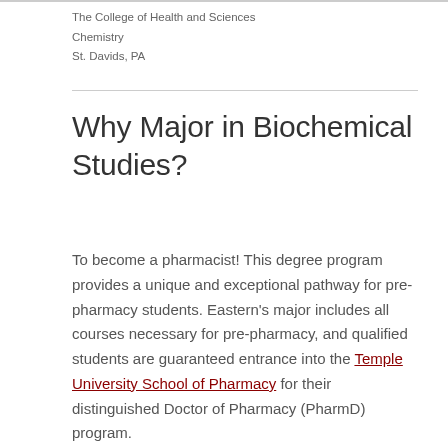The College of Health and Sciences
Chemistry
St. Davids, PA
Why Major in Biochemical Studies?
To become a pharmacist! This degree program provides a unique and exceptional pathway for pre-pharmacy students. Eastern's major includes all courses necessary for pre-pharmacy, and qualified students are guaranteed entrance into the Temple University School of Pharmacy for their distinguished Doctor of Pharmacy (PharmD) program.